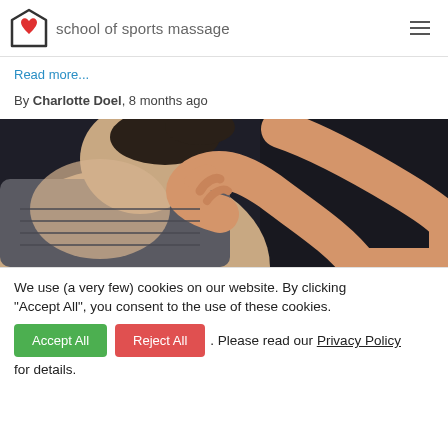school of sports massage
Read more...
By Charlotte Doel, 8 months ago
[Figure (photo): Person in a grey sleeveless top reaching their hand over their shoulder, against a dark background — suggesting a massage or self-treatment context]
We use (a very few) cookies on our website. By clicking "Accept All", you consent to the use of these cookies. Accept All Reject All. Please read our Privacy Policy for details.